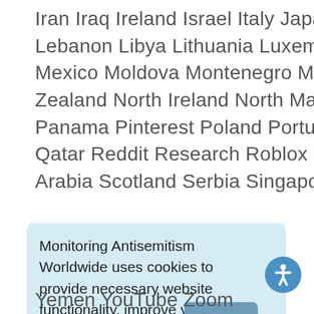Iran Iraq Ireland Israel Italy Japan Jordan Kosovo Kuwait Lebanon Libya Lithuania Luxembourg Malaysia Mauritania Mexico Moldova Montenegro Morocco Netherlands New Zealand North Ireland North Macedonia Norway Pakistan Panama Pinterest Poland Portugal propaganda Puerto Rico Qatar Reddit Research Roblox Romania Russia Saudi Arabia Scotland Serbia Singapore
Monitoring Antisemitism Worldwide uses cookies to provide necessary website functionality, improve your experience and analyze our traffic. By using our website, you agree to our Cookies Policy. Learn more
Yemen YouTube Zoom